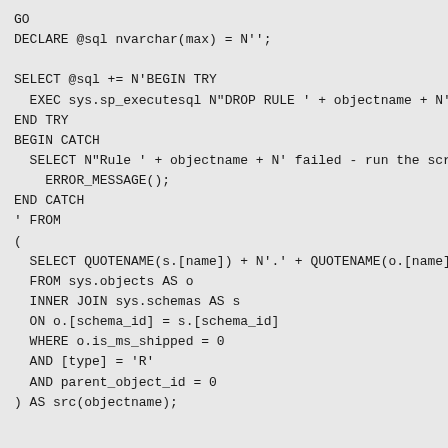GO
DECLARE @sql nvarchar(max) = N'';

SELECT @sql += N'BEGIN TRY
  EXEC sys.sp_executesql N"DROP RULE ' + objectname + N';";
END TRY
BEGIN CATCH
  SELECT N"Rule ' + objectname + N' failed - run the script again.",
    ERROR_MESSAGE();
END CATCH
' FROM
(
  SELECT QUOTENAME(s.[name]) + N'.' + QUOTENAME(o.[name])
  FROM sys.objects AS o
  INNER JOIN sys.schemas AS s
  ON o.[schema_id] = s.[schema_id]
  WHERE o.is_ms_shipped = 0
  AND [type] = 'R'
  AND parent_object_id = 0
) AS src(objectname);